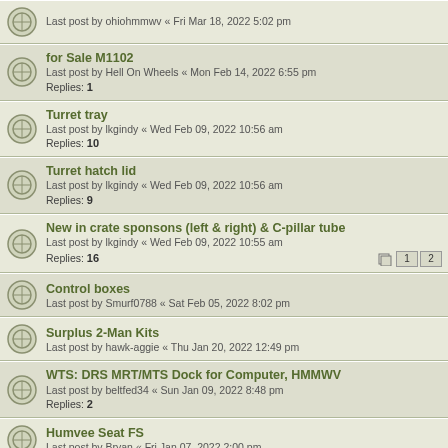Last post by ohiohmmwv « Fri Mar 18, 2022 5:02 pm
for Sale M1102
Last post by Hell On Wheels « Mon Feb 14, 2022 6:55 pm
Replies: 1
Turret tray
Last post by lkgindy « Wed Feb 09, 2022 10:56 am
Replies: 10
Turret hatch lid
Last post by lkgindy « Wed Feb 09, 2022 10:56 am
Replies: 9
New in crate sponsons (left & right) & C-pillar tube
Last post by lkgindy « Wed Feb 09, 2022 10:55 am
Replies: 16
Control boxes
Last post by Smurf0788 « Sat Feb 05, 2022 8:02 pm
Surplus 2-Man Kits
Last post by hawk-aggie « Thu Jan 20, 2022 12:49 pm
WTS: DRS MRT/MTS Dock for Computer, HMMWV
Last post by beltfed34 « Sun Jan 09, 2022 8:48 pm
Replies: 2
Humvee Seat FS
Last post by Bryan « Fri Jan 07, 2022 2:00 pm
Weapon mount socket
Last post by willys « Thu Dec 23, 2021 10:05 pm
Replies: 3
FSA: Misc HMMWV surplus (but NOS) parts for sale
Last post by DDTrustee « Thu Dec 23, 2021 2:37 am